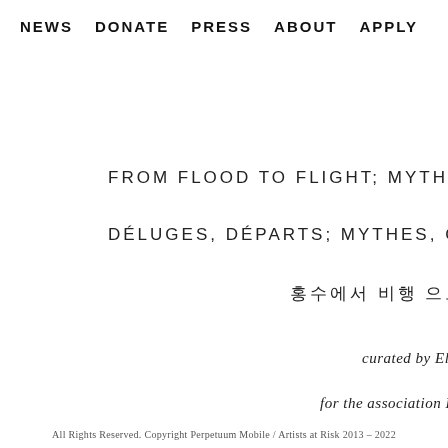NEWS   DONATE   PRESS   ABOUT   APPLY
FROM FLOOD TO FLIGHT; MYTHS, S
DÉLUGES, DÉPARTS; MYTHES, CHA
홍수에서 비행으로; 신화, 이
curated by Elena
for the association Portes
All Rights Reserved. Copyright Perpetuum Mobile / Artists at Risk 2013 - 2022